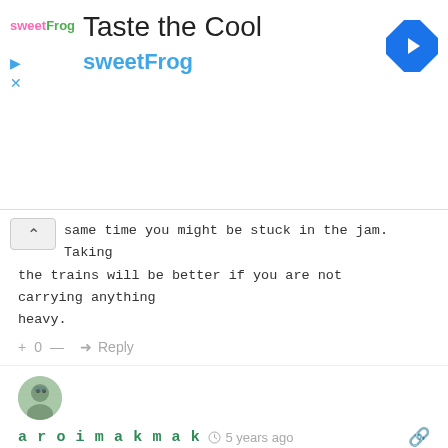[Figure (screenshot): SweetFrog advertisement banner with logo, 'Taste the Cool' title, brand name in teal, and navigation icon]
same time you might be stuck in the jam. Taking the trains will be better if you are not carrying anything heavy.
+ 0 — → Reply
[Figure (photo): User avatar showing a person with glasses]
aroimakmak  5 years ago
i haven't try one near in yaowarat yet but the nearest to it is iSanook Residence
https://aroimakmak.com/isanook-residence/
+ 0 — → Reply
[Figure (illustration): User avatar showing a cartoon character with a hat]